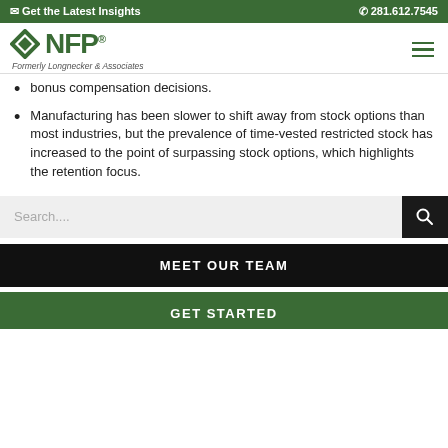Get the Latest Insights   281.612.7545
[Figure (logo): NFP logo with diamond icon and text 'Formerly Longnecker & Associates']
bonus compensation decisions.
Manufacturing has been slower to shift away from stock options than most industries, but the prevalence of time-vested restricted stock has increased to the point of surpassing stock options, which highlights the retention focus.
Search....
MEET OUR TEAM
GET STARTED